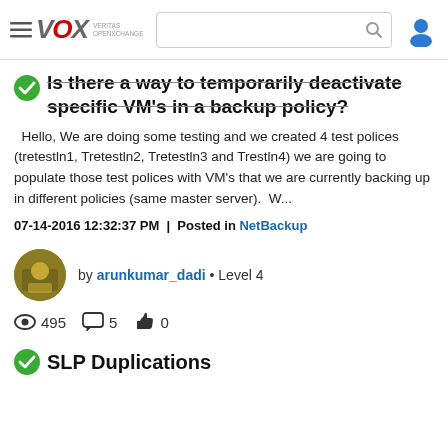VOX | VERITAS OpenXchange
Is there a way to temporarily deactivate specific VM's in a backup policy?
Hello, We are doing some testing and we created 4 test polices (tretestln1, Tretestln2, Tretestln3 and Trestln4) we are going to populate those test polices with VM's that we are currently backing up in different policies (same master server).  W...
07-14-2016 12:32:37 PM | Posted in NetBackup
by arunkumar_dadi • Level 4
495 views, 5 comments, 0 likes
SLP Duplications